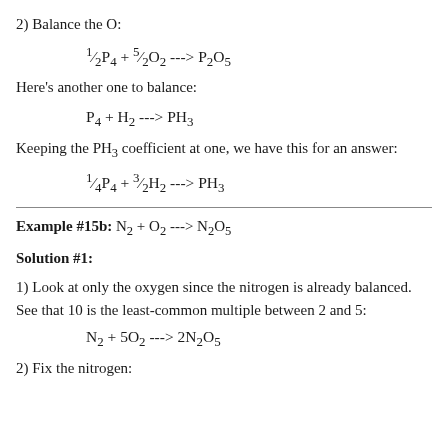2) Balance the O:
Here's another one to balance:
Keeping the PH3 coefficient at one, we have this for an answer:
Example #15b: N2 + O2 ---> N2O5
Solution #1:
1) Look at only the oxygen since the nitrogen is already balanced. See that 10 is the least-common multiple between 2 and 5:
2) Fix the nitrogen: